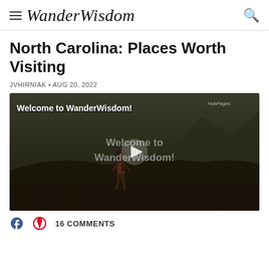WanderWisdom
North Carolina: Places Worth Visiting
JVHIRNIAK • AUG 20, 2022
[Figure (screenshot): Video thumbnail with dark outdoor scene showing a person with a backpack in a field with mountains behind. Text overlay reads 'Welcome to WanderWisdom!' at top and 'Welcome to WanderWisdom!' in center. A play button is visible in the center. HubPages watermark in top right.]
16 COMMENTS